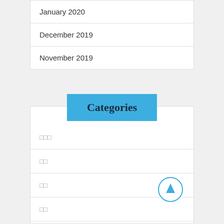January 2020
December 2019
November 2019
Categories
□□□
□□
□□
□□
□□□□□□□□